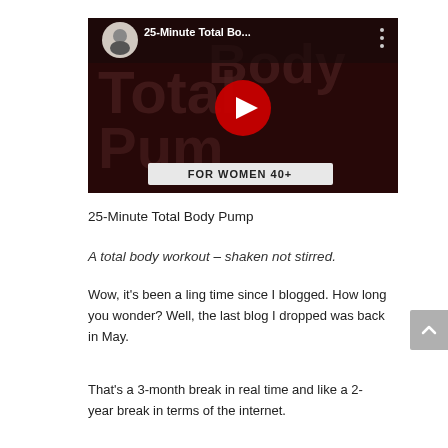[Figure (screenshot): YouTube video thumbnail for '25-Minute Total Bo...' showing a dark red background with large text reading 'Total Body Pump' and 'FOR WOMEN 40+', a red play button in the center, and a circular profile image of a fitness instructor in the top left.]
25-Minute Total Body Pump
A total body workout – shaken not stirred.
Wow, it's been a ling time since I blogged. How long you wonder? Well, the last blog I dropped was back in May.
That's a 3-month break in real time and like a 2-year break in terms of the internet.